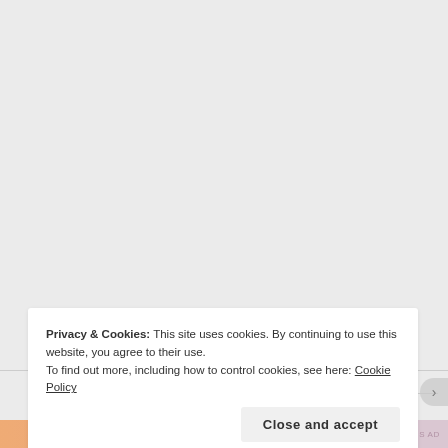Black Bird (Limited Series) Review
TAGS
7 THINGS
2009
2010
2011
2012
Privacy & Cookies: This site uses cookies. By continuing to use this website, you agree to their use.
To find out more, including how to control cookies, see here: Cookie Policy
Close and accept